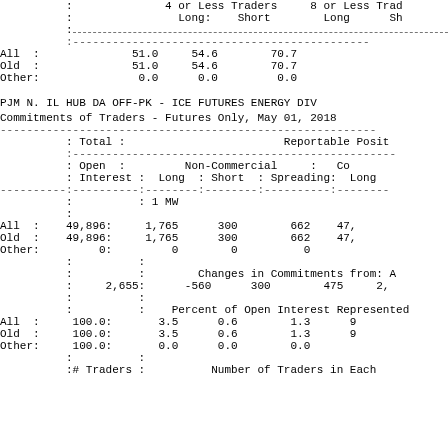|  | 4 or Less Traders Long: | 4 or Less Traders Short | 8 or Less Tra Long | 8 or Less Tra Sh |
| --- | --- | --- | --- | --- |
| All : | 51.0 | 54.6 | 70.7 | 8 |
| Old : | 51.0 | 54.6 | 70.7 | 8 |
| Other: | 0.0 | 0.0 | 0.0 |  |
PJM N. IL HUB DA OFF-PK - ICE FUTURES ENERGY DIV
Commitments of Traders - Futures Only, May 01, 2018
|  | Total : Open Interest | Non-Commercial Long | Non-Commercial Short | Non-Commercial Spreading: | Co Long |
| --- | --- | --- | --- | --- | --- |
|  | 1 MW |  |  |  |  |
| All : | 49,896: | 1,765 | 300 | 662 | 47, |
| Old : | 49,896: | 1,765 | 300 | 662 | 47, |
| Other: | 0: | 0 | 0 | 0 |  |
|  | 2,655: | -560 | 300 | 475 | 2, |
| All : | 100.0: | 3.5 | 0.6 | 1.3 | 9 |
| Old : | 100.0: | 3.5 | 0.6 | 1.3 | 9 |
| Other: | 100.0: | 0.0 | 0.0 | 0.0 |  |
|  | # Traders : |  | Number of Traders in Each |  |  |